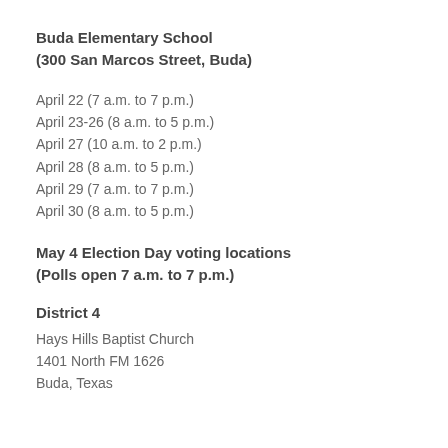Buda Elementary School
(300 San Marcos Street, Buda)
April 22 (7 a.m. to 7 p.m.)
April 23-26 (8 a.m. to 5 p.m.)
April 27 (10 a.m. to 2 p.m.)
April 28 (8 a.m. to 5 p.m.)
April 29 (7 a.m. to 7 p.m.)
April 30 (8 a.m. to 5 p.m.)
May 4 Election Day voting locations (Polls open 7 a.m. to 7 p.m.)
District 4
Hays Hills Baptist Church
1401 North FM 1626
Buda, Texas